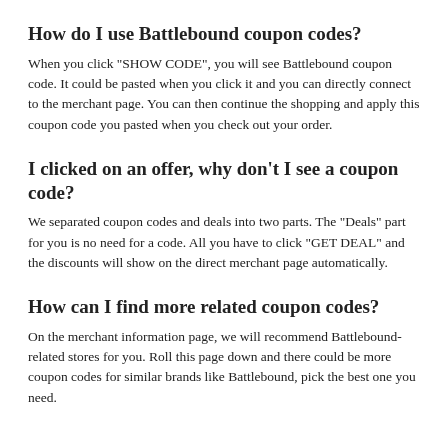How do I use Battlebound coupon codes?
When you click "SHOW CODE", you will see Battlebound coupon code. It could be pasted when you click it and you can directly connect to the merchant page. You can then continue the shopping and apply this coupon code you pasted when you check out your order.
I clicked on an offer, why don't I see a coupon code?
We separated coupon codes and deals into two parts. The "Deals" part for you is no need for a code. All you have to click "GET DEAL" and the discounts will show on the direct merchant page automatically.
How can I find more related coupon codes?
On the merchant information page, we will recommend Battlebound-related stores for you. Roll this page down and there could be more coupon codes for similar brands like Battlebound, pick the best one you need.